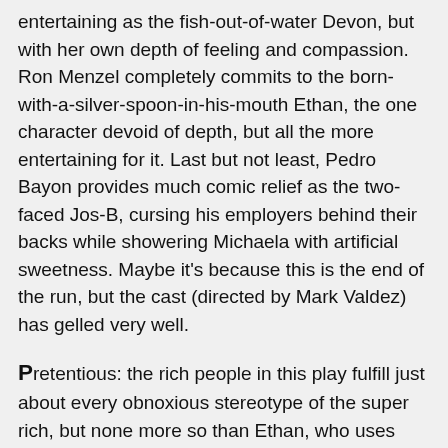entertaining as the fish-out-of-water Devon, but with her own depth of feeling and compassion. Ron Menzel completely commits to the born-with-a-silver-spoon-in-his-mouth Ethan, the one character devoid of depth, but all the more entertaining for it. Last but not least, Pedro Bayon provides much comic relief as the two-faced Jos-B, cursing his employers behind their backs while showering Michaela with artificial sweetness. Maybe it's because this is the end of the run, but the cast (directed by Mark Valdez) has gelled very well.
Pretentious: the rich people in this play fulfill just about every obnoxious stereotype of the super rich, but none more so than Ethan, who uses those annoying shortened words like "sich," "deets," and "convo" with no sense of irony, named his boats after himself, and complains that he didn't get to have his nap today.
I must also mention the beautiful and rich-looking set (by